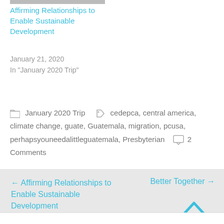[Figure (photo): Partial image at top of page, cropped]
Affirming Relationships to Enable Sustainable Development
January 21, 2020
In "January 2020 Trip"
January 2020 Trip   cedepca, central america, climate change, guate, Guatemala, migration, pcusa, perhapsyouneedalittleguatemala, Presbyterian   2 Comments
← Affirming Relationships to Enable Sustainable Development
Better Together →